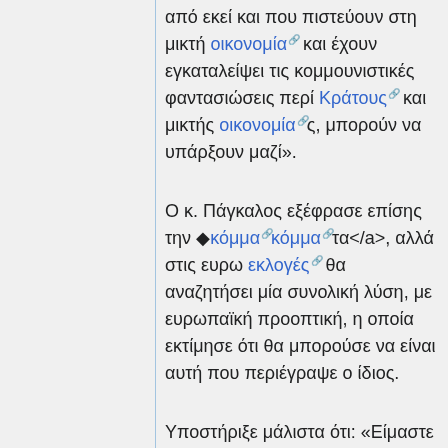από εκεί και που πιστεύουν στη μικτή οικονομία και έχουν εγκαταλείψει τις κομμουνιστικές φαντασιώσεις περί Κράτους και μικτής οικονομίας, μπορούν να υπάρξουν μαζί».
Ο κ. Πάγκαλος εξέφρασε επίσης την ◆κόμμα◆κόμμα◆τα</a>, αλλά στις ευρω εκλογές θα αναζητήσει μία συνολική λύση, με ευρωπαϊκή προοπτική, η οποία εκτίμησε ότι θα μπορούσε να είναι αυτή που περιέγραψε ο ίδιος.
Υποστήριξε μάλιστα ότι: «Είμαστε σε μια περίοδο έντασης κοινωνικής, στα